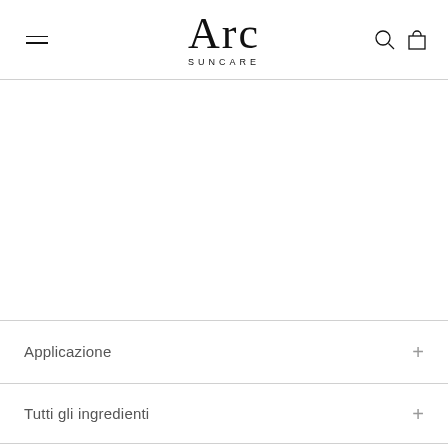Arc SUNCARE
[Figure (other): Large white empty product image area]
Applicazione
Tutti gli ingredienti